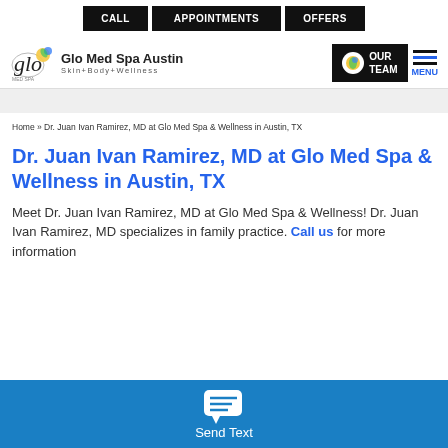CALL  APPOINTMENTS  OFFERS
[Figure (logo): Glo Med Spa Austin logo with butterfly icon, tagline Skin+Body+Wellness, OUR TEAM button, and MENU hamburger icon]
Home » Dr. Juan Ivan Ramirez, MD at Glo Med Spa & Wellness in Austin, TX
Dr. Juan Ivan Ramirez, MD at Glo Med Spa & Wellness in Austin, TX
Meet Dr. Juan Ivan Ramirez, MD at Glo Med Spa & Wellness! Dr. Juan Ivan Ramirez, MD specializes in family practice. Call us for more information
Send Text